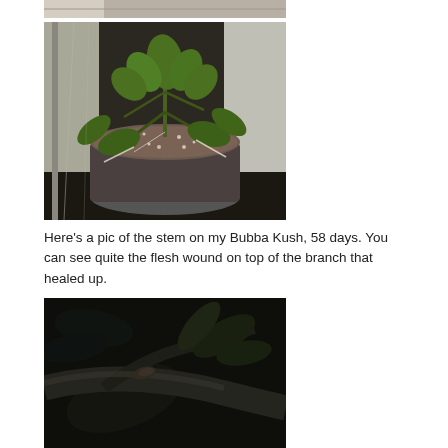[Figure (photo): Top portion of a photo showing a reflective mylar grow tent interior, partially cropped at top of page]
[Figure (photo): Photo of a cannabis plant (Bubba Kush) in a pot with perlite/soil mix inside a reflective mylar grow tent]
Here's a pic of the stem on my Bubba Kush, 58 days. You can see quite the flesh wound on top of the branch that healed up.
[Figure (photo): Close-up photo of a dark cannabis plant stem/branch showing a healed wound, shot from below against a dark background]